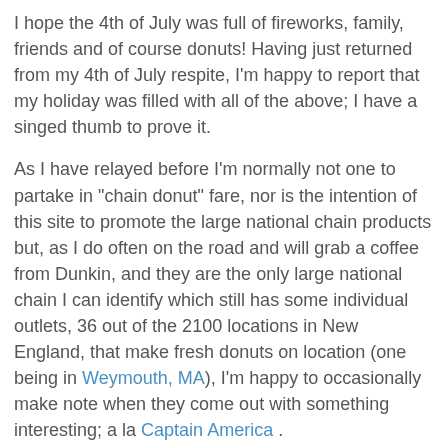I hope the 4th of July was full of fireworks, family, friends and of course donuts! Having just returned from my 4th of July respite, I'm happy to report that my holiday was filled with all of the above; I have a singed thumb to prove it.
As I have relayed before I'm normally not one to partake in "chain donut" fare, nor is the intention of this site to promote the large national chain products but, as I do often on the road and will grab a coffee from Dunkin, and they are the only large national chain I can identify which still has some individual outlets, 36 out of the 2100 locations in New England, that make fresh donuts on location (one being in Weymouth, MA), I'm happy to occasionally make note when they come out with something interesting; a la Captain America .
Dunkin Donuts recently announced the brand's first-ever movie partnership, its multi-product line of Captain America consumables. In support of the Marvel Studios film Captain America: The First Avenger, the brand has followed a patriotic theme in the creation of these three new products. The Captain America Coolatta, is a cherry-flavored frozen